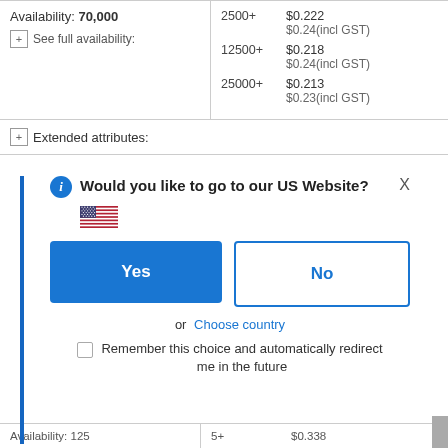Availability: 70,000
See full availability:
| Qty | Price |
| --- | --- |
| 2500+ | $0.222
$0.24(incl GST) |
| 12500+ | $0.218
$0.24(incl GST) |
| 25000+ | $0.213
$0.23(incl GST) |
Extended attributes:
Would you like to go to our US Website?
Yes
No
or Choose country
Remember this choice and automatically redirect me in the future
Availability: 125
5+
$0.338